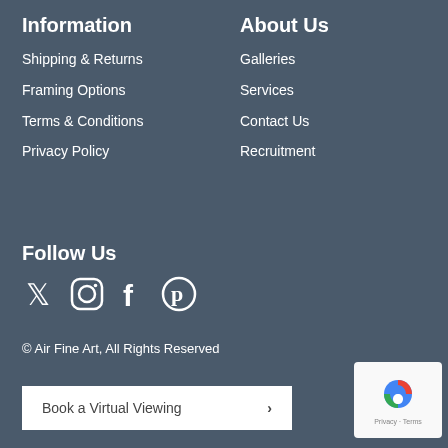Information
Shipping & Returns
Framing Options
Terms & Conditions
Privacy Policy
About Us
Galleries
Services
Contact Us
Recruitment
Follow Us
[Figure (illustration): Social media icons: Twitter, Instagram, Facebook, Pinterest]
© Air Fine Art, All Rights Reserved
Book a Virtual Viewing >
[Figure (logo): reCAPTCHA logo with Privacy - Terms text]